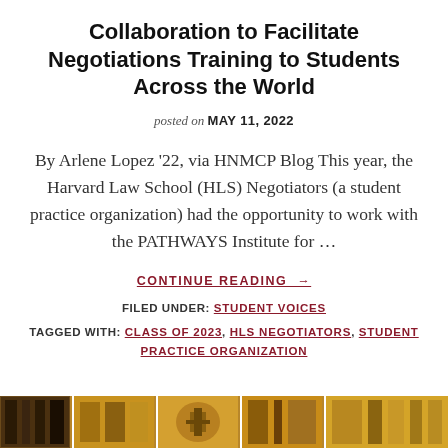Collaboration to Facilitate Negotiations Training to Students Across the World
posted on MAY 11, 2022
By Arlene Lopez '22, via HNMCP Blog This year, the Harvard Law School (HLS) Negotiators (a student practice organization) had the opportunity to work with the PATHWAYS Institute for ...
CONTINUE READING →
FILED UNDER: STUDENT VOICES
TAGGED WITH: CLASS OF 2023, HLS NEGOTIATORS, STUDENT PRACTICE ORGANIZATION
[Figure (photo): Bottom strip showing architectural/interior photo thumbnails]